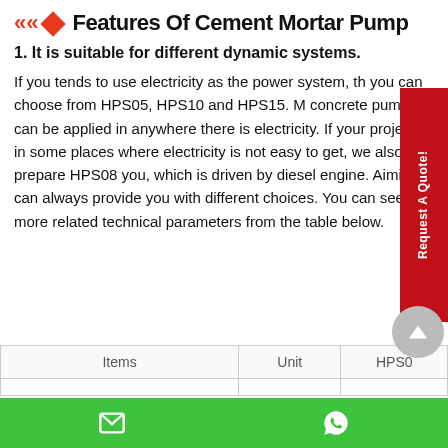Features Of Cement Mortar Pump
1. It is suitable for different dynamic systems.
If you tends to use electricity as the power system, you can choose from HPS05, HPS10 and HPS15. M concrete pump can be applied in anywhere there is electricity. If your project is in some places where electricity is not easy to get, we also prepare HPS08 you, which is driven by diesel engine. Aimix can always provide you with different choices. You can see more related technical parameters from the table below.
| Items | Unit | HPS0 |
| --- | --- | --- |